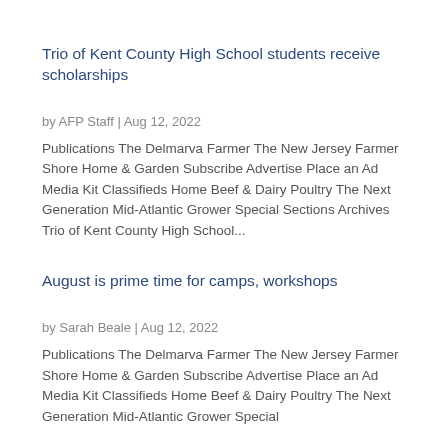Trio of Kent County High School students receive scholarships
by AFP Staff | Aug 12, 2022
Publications The Delmarva Farmer The New Jersey Farmer Shore Home & Garden Subscribe Advertise Place an Ad Media Kit Classifieds Home Beef & Dairy Poultry The Next Generation Mid-Atlantic Grower Special Sections Archives Trio of Kent County High School...
August is prime time for camps, workshops
by Sarah Beale | Aug 12, 2022
Publications The Delmarva Farmer The New Jersey Farmer Shore Home & Garden Subscribe Advertise Place an Ad Media Kit Classifieds Home Beef & Dairy Poultry The Next Generation Mid-Atlantic Grower Special